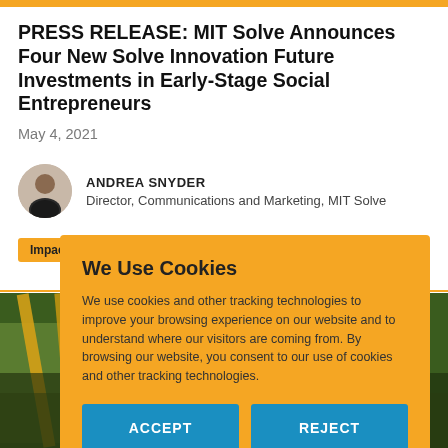PRESS RELEASE: MIT Solve Announces Four New Solve Innovation Future Investments in Early-Stage Social Entrepreneurs
May 4, 2021
ANDREA SNYDER
Director, Communications and Marketing, MIT Solve
Impact Investing   Press Releases
We Use Cookies
We use cookies and other tracking technologies to improve your browsing experience on our website and to understand where our visitors are coming from. By browsing our website, you consent to our use of cookies and other tracking technologies.
ACCEPT    REJECT
[Figure (photo): Photo of building exterior with yellow structures and SOLVE text visible at bottom]